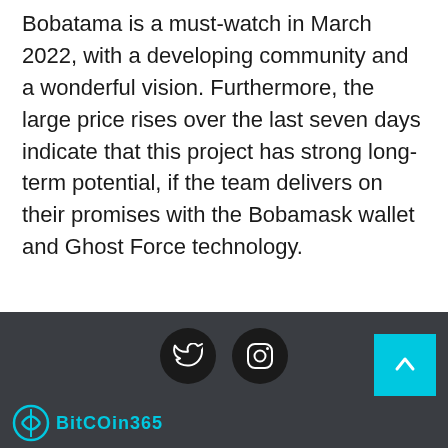Bobatama is a must-watch in March 2022, with a developing community and a wonderful vision. Furthermore, the large price rises over the last seven days indicate that this project has strong long-term potential, if the team delivers on their promises with the Bobamask wallet and Ghost Force technology.
[Figure (other): Dark footer bar with Twitter and Instagram social icon circles, a cyan scroll-to-top button in the bottom right, and a partial BitCoin365 logo at the bottom left.]